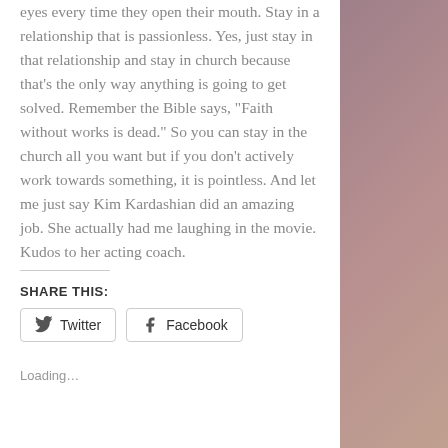eyes every time they open their mouth. Stay in a relationship that is passionless. Yes, just stay in that relationship and stay in church because that's the only way anything is going to get solved. Remember the Bible says, “Faith without works is dead.” So you can stay in the church all you want but if you don’t actively work towards something, it is pointless. And let me just say Kim Kardashian did an amazing job. She actually had me laughing in the movie. Kudos to her acting coach.
SHARE THIS:
Loading...